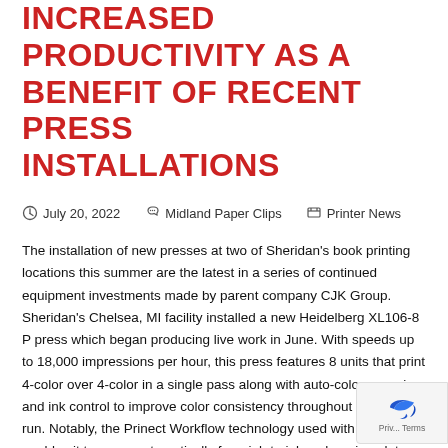INCREASED PRODUCTIVITY AS A BENEFIT OF RECENT PRESS INSTALLATIONS
July 20, 2022   Midland Paper Clips   Printer News
The installation of new presses at two of Sheridan's book printing locations this summer are the latest in a series of continued equipment investments made by parent company CJK Group. Sheridan's Chelsea, MI facility installed a new Heidelberg XL106-8 P press which began producing live work in June. With speeds up to 18,000 impressions per hour, this press features 8 units that print 4-color over 4-color in a single pass along with auto-color scanning and ink control to improve color consistency throughout the print run. Notably, the Prinect Workflow technology used with this press enables it to move automatically from job to job – changing plates and washing blankets on the fly, which significantly shortens make-ready times and increases productivity. An increase in productivity and consistency was also brought to Sheridan's Wisconsin facility with the July arrival of a HP Indigo 12000 digital press. The high throughput of the Indigo press for both single-and double-sided printing will provide